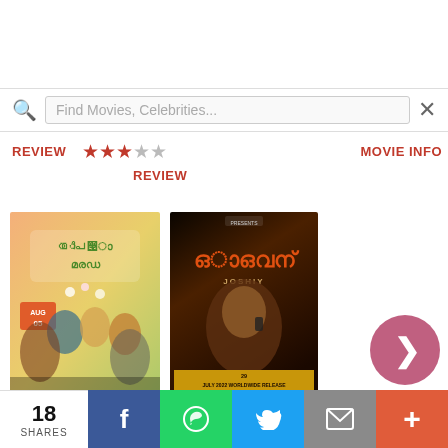Find Movies, Celebrities... [search bar] ×
REVIEW ★★★☆☆ MOVIE INFO
REVIEW
[Figure (photo): Movie poster for Vishudha Mejo – Malayalam film poster with cast members on orange/green background]
Vishudha Mejo
MOVIE INFO
[Figure (photo): Movie poster for Paappan – dark thriller Malayalam film poster with actor on dark background, text: 29th July 2022 Worldwide Release]
Paappan
★★★☆☆
[Figure (other): More button – circular pink button with right-arrow chevron and MORE label]
18 SHARES
f (Facebook share)
WhatsApp share
Twitter share
Email share
+ (More share)